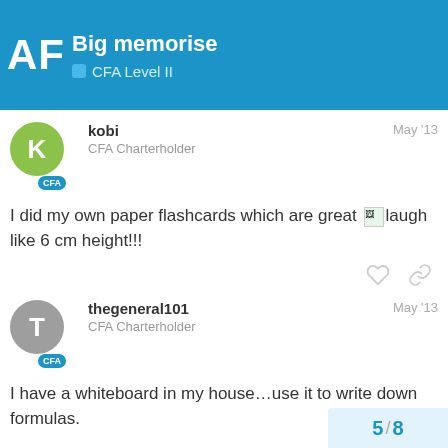AF Big memorise | CFA Level II
kobi
CFA Charterholder
May '13
I did my own paper flashcards which are great [laugh] like 6 cm height!!!
thegeneral101
CFA Charterholder
May '13
I have a whiteboard in my house…use it to write down formulas.
5 / 8